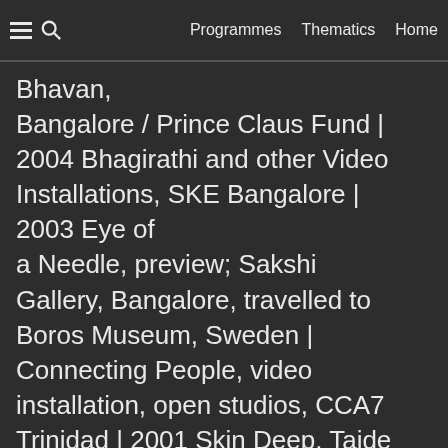Programmes  Thematics  Home
Bhavan, Bangalore / Prince Claus Fund | 2004 Bhagirathi and other Video Installations, SKE Bangalore | 2003 Eye of a Needle, preview; Sakshi Gallery, Bangalore, travelled to Boros Museum, Sweden | Connecting People, video installation, open studios, CCA7 Trinidad | 2001 Skin Deep, Taide Halli Museum (studio), Helsinki, Finland | Fragments of a Wedding Diary, Open studio, HIAP, Helsinki | 2000 British-Make, Spike Island